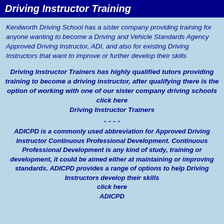Driving Instructor Training
Kenilworth Driving School has a sister company providing training for anyone wanting to become a Driving and Vehicle Standards Agency Approved Driving Instructor, ADI, and also for existing Driving Instructors that want to improve or further develop their skills
Driving Instructor Trainers has highly qualified tutors providing training to become a driving instructor, after qualifying there is the option of working with one of our sister company driving schools
click here
Driving Instructor Trainers
- - - -
ADICPD is a commonly used abbreviation for Approved Driving Instructor Continuous Professional Development. Continuous Professional Development is any kind of study, training or development, it could be aimed either at maintaining or improving standards. ADICPD provides a range of options to help Driving Instructors develop their skills
click here
ADICPD